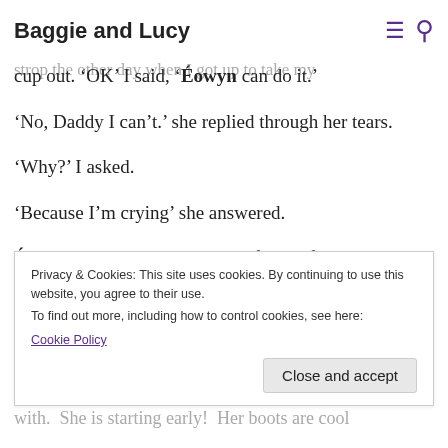Baggie and Lucy
kitchen and woe betide anyone who takes their place. She thinks it is her job!. She threw a strop the other day when I got up to take my cup out. ‘OK’ I said, ‘Éowyn can do it.’
‘No, Daddy I can’t.’ she replied through her tears.
‘Why?’ I asked.
‘Because I’m crying’ she answered.
Éowyn enjoyed shoe shopping for the first time recently. We bought her a pair of winter
Privacy & Cookies: This site uses cookies. By continuing to use this website, you agree to their use.
To find out more, including how to control cookies, see here:
Cookie Policy
with. She is starting early! Her boots are cool